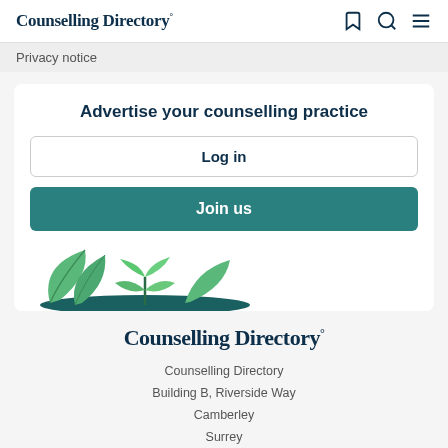Counselling Directory°
Privacy notice
Advertise your counselling practice
Log in
Join us
[Figure (illustration): Green plant/leaf decorative illustration at bottom of card]
Counselling Directory°
Counselling Directory
Building B, Riverside Way
Camberley
Surrey